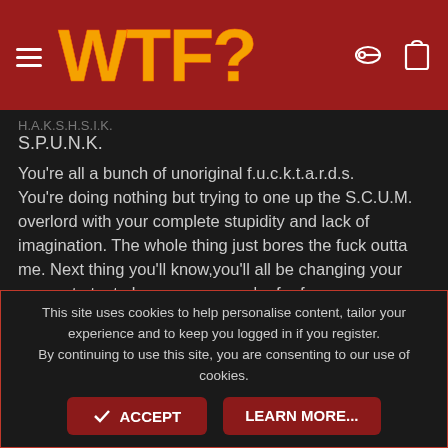WTF?
S.P.U.N.K.
You're all a bunch of unoriginal f.u.c.k.t.a.r.d.s. You're doing nothing but trying to one up the S.C.U.M. overlord with your complete stupidity and lack of imagination. The whole thing just bores the fuck outta me. Next thing you'll know,you'll all be changing your names to try to be someone you're far from....
gehtfuct II,Mrs.MaxPower,Broken Jr.,Havoks illegitimate Chylde.
Go back home,man. Go to your room,close the fuckin' door and go to sleep. That's all we're gehtting from your wanna-be asses. YOU sounding like it's nappy-time.
This site uses cookies to help personalise content, tailor your experience and to keep you logged in if you register.
By continuing to use this site, you are consenting to our use of cookies.